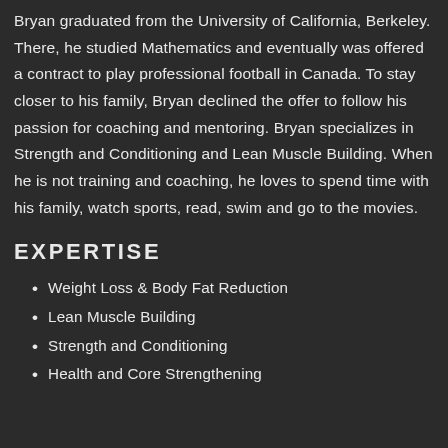Bryan graduated from the University of California, Berkeley. There, he studied Mathematics and eventually was offered a contract to play professional football in Canada. To stay closer to his family, Bryan declined the offer to follow his passion for coaching and mentoring. Bryan specializes in Strength and Conditioning and Lean Muscle Building. When he is not training and coaching, he loves to spend time with his family, watch sports, read, swim and go to the movies.
EXPERTISE
Weight Loss & Body Fat Reduction
Lean Muscle Building
Strength and Conditioning
Health and Core Strengthening